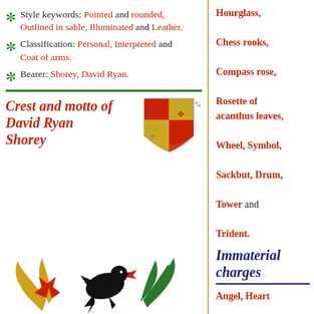Style keywords: Pointed and rounded, Outlined in sable, Illuminated and Leather.
Classification: Personal, Interpreted and Coat of arms.
Bearer: Shorey, David Ryan.
Hourglass, Chess rooks, Compass rose, Rosette of acanthus leaves, Wheel, Symbol, Sackbut, Drum, Tower and Trident.
Crest and motto of David Ryan Shorey
[Figure (illustration): Coat of arms shield with heraldic design, labeled Castellano]
Immaterial charges
Angel, Heart
[Figure (illustration): Heraldic crest with black bird (rook/crow) on a red star, flanked by golden and green wings/foliage]